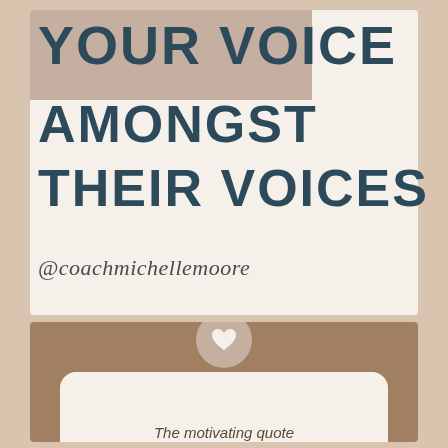YOUR VOICE AMONGST THEIR VOICES
@coachmichellemoore
[Figure (illustration): Bottom section with tan/brown background and a white rounded card with a heart circle icon at the top edge, and partial text at bottom]